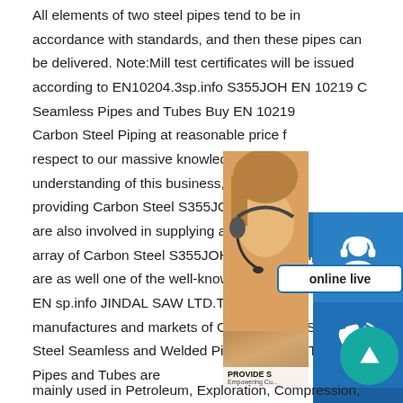All elements of two steel pipes tend to be in accordance with standards, and then these pipes can be delivered. Note:Mill test certificates will be issued according to EN10204.3sp.info S355JOH EN 10219 Cold Formed Seamless Pipes and Tubes Buy EN 10219 Carbon Steel Piping at reasonable price from us.With respect to our massive knowledge and high-quality understanding of this business, we are expert in providing Carbon Steel S355JOH EN 10219 Pipes. We are also involved in supplying and exporting a wide array of Carbon Steel S355JOH EN 10219 Pipes.We are as well one of the well-known stockiest of Carbon Steel EN sp.info JINDAL SAW LTD.This division manufactures and markets of Carbon, Alloy, Stainless Steel Seamless and Welded Pipes & Tubes. These Pipes and Tubes are mainly used in Petroleum, Exploration, Compression,
[Figure (infographic): Customer support widget panel showing a 24/7 label, a person with headset photo with PROVIDE / Empowering Customers text, three icon buttons (headset/user icon, phone/call icon, Skype icon), an 'online live' button, and an up-arrow teal circle button.]